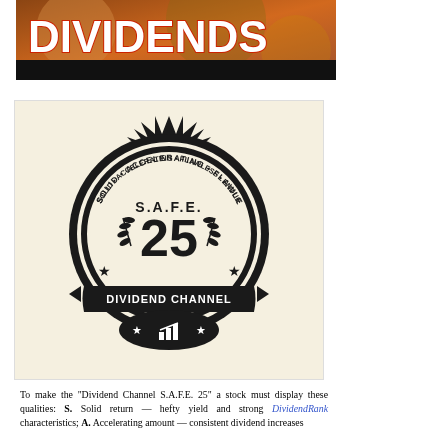[Figure (illustration): Banner image with the word DIVIDENDS in large bold white text with red fill on a dark/brownish background with a black bar at the bottom.]
[Figure (logo): Dividend Channel S.A.F.E. 25 badge/seal. Black and cream colored circular seal with spiky outer ring. Text around circle reads: SOLID • ACCELERATING • FLAWLESS • ENDURING. Center shows S.A.F.E. above number 25 with laurel branches. Bottom banner reads DIVIDEND CHANNEL with stars and a bar chart icon.]
To make the "Dividend Channel S.A.F.E. 25" a stock must display these qualities: S. Solid return — hefty yield and strong DividendRank characteristics; A. Accelerating amount — consistent dividend increases